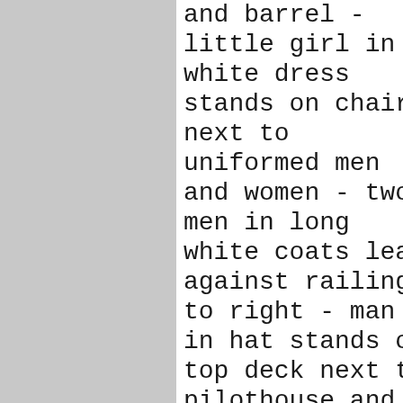and barrel - little girl in a white dress stands on chair next to uniformed men and women - two men in long white coats lean against railing to right - man in hat stands on top deck next to pilothouse and flag - life raft to right and ring buoy reading "S.S. Saskatchewan Winnipeg" - several wooden chairs arranged on upper deck - "Saskatchewan" on sign on pilothouse - wheel visible through